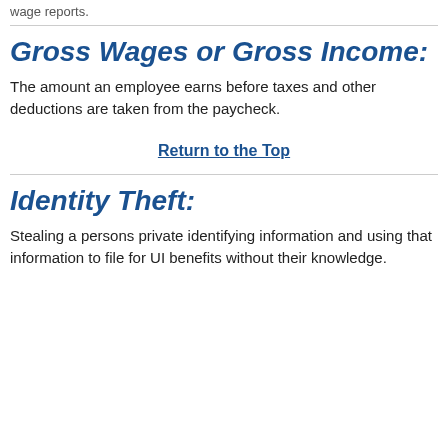wage reports.
Gross Wages or Gross Income:
The amount an employee earns before taxes and other deductions are taken from the paycheck.
Return to the Top
Identity Theft:
Stealing a persons private identifying information and using that information to file for UI benefits without their knowledge.